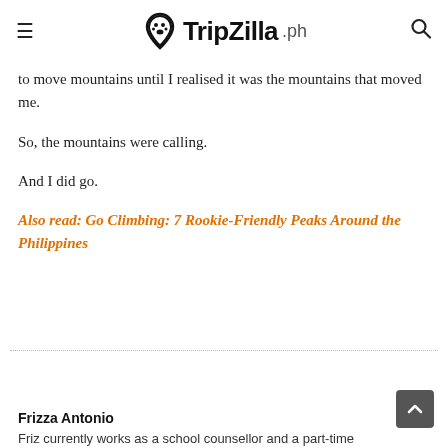TripZilla.ph
to move mountains until I realised it was the mountains that moved me.
So, the mountains were calling.
And I did go.
Also read: Go Climbing: 7 Rookie-Friendly Peaks Around the Philippines
Frizza Antonio
Friz currently works as a school counsellor and a part-time